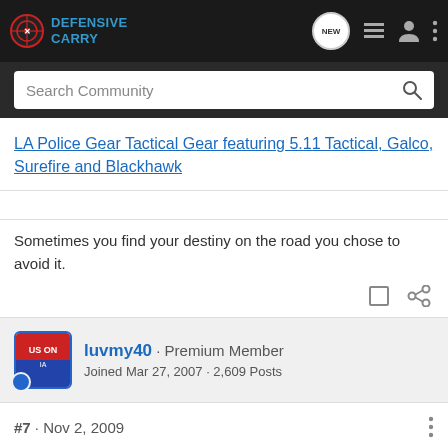Defensive Carry — navigation bar with logo, NEW, list, profile, and more icons
Search Community
LA Police Gear Tactical Gear featuring 5.11 Tactical, Galco, Surefire and Blackhawk
Sometimes you find your destiny on the road you chose to avoid it.
luvmy40 · Premium Member
Joined Mar 27, 2007 · 2,609 Posts
#7 · Nov 2, 2009